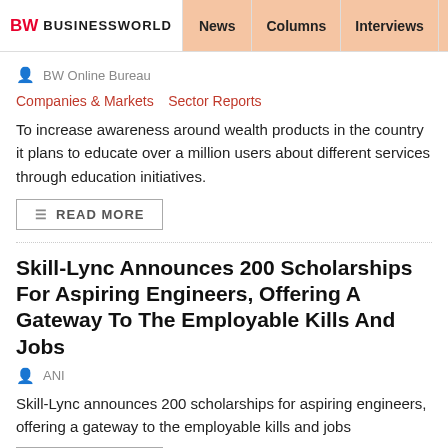BW BUSINESSWORLD | News | Columns | Interviews | BW
BW Online Bureau
Companies & Markets  Sector Reports
To increase awareness around wealth products in the country it plans to educate over a million users about different services through education initiatives.
READ MORE
Skill-Lync Announces 200 Scholarships For Aspiring Engineers, Offering A Gateway To The Employable Kills And Jobs
ANI
Skill-Lync announces 200 scholarships for aspiring engineers, offering a gateway to the employable kills and jobs
READ MORE